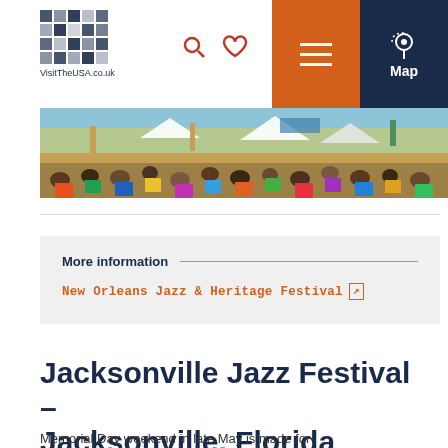VisitTheUSA.co.uk
[Figure (photo): Outdoor festival crowd scene with colourful tents, banners and people in sunshine]
More information
New Orleans Jazz & Heritage Festival [external link]
Jacksonville Jazz Festival – Jacksonville, Florida
Memorial Day weekend in late May is made for